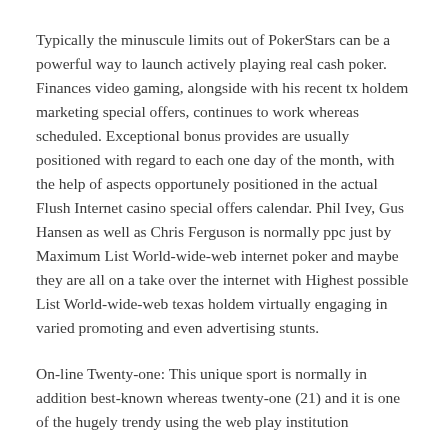Typically the minuscule limits out of PokerStars can be a powerful way to launch actively playing real cash poker. Finances video gaming, alongside with his recent tx holdem marketing special offers, continues to work whereas scheduled. Exceptional bonus provides are usually positioned with regard to each one day of the month, with the help of aspects opportunely positioned in the actual Flush Internet casino special offers calendar. Phil Ivey, Gus Hansen as well as Chris Ferguson is normally ppc just by Maximum List World-wide-web internet poker and maybe they are all on a take over the internet with Highest possible List World-wide-web texas holdem virtually engaging in varied promoting and even advertising stunts.
On-line Twenty-one: This unique sport is normally in addition best-known whereas twenty-one (21) and it is one of the hugely trendy using the web play institution